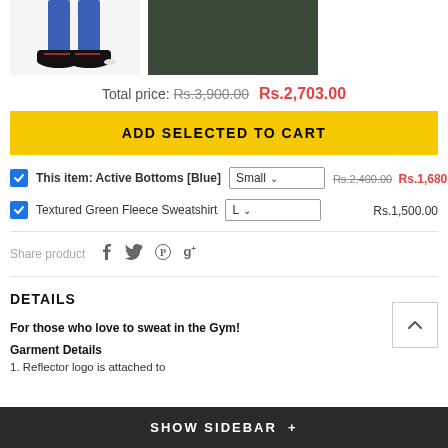[Figure (photo): Two product images: left shows blue active bottoms with black sneakers on a white background; right shows a dark green textured fleece sweatshirt]
Total price: Rs.3,900.00 Rs.2,703.00
ADD SELECTED TO CART
This item: Active Bottoms [Blue] Small Rs.2,400.00 Rs.1,680.00
Textured Green Fleece Sweatshirt L Rs.1,500.00
Share product
DETAILS
For those who love to sweat in the Gym!
Garment Details
1. Reflector logo is attached to
SHOW SIDEBAR +